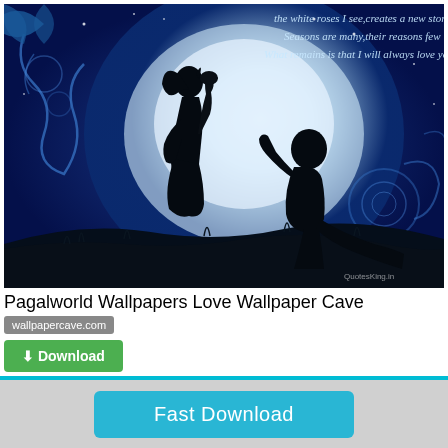[Figure (illustration): Romantic love wallpaper showing silhouettes of a man kneeling and offering a rose to a woman, against a large glowing moon background with blue starry sky and swirling floral decorations. Text overlay reads: 'the white roses I see,creates a new story, Seasons are many,their reasons few, What remains is that I will always love you !']
Pagalworld Wallpapers Love Wallpaper Cave
wallpapercave.com
⬇ Download
Fast Download